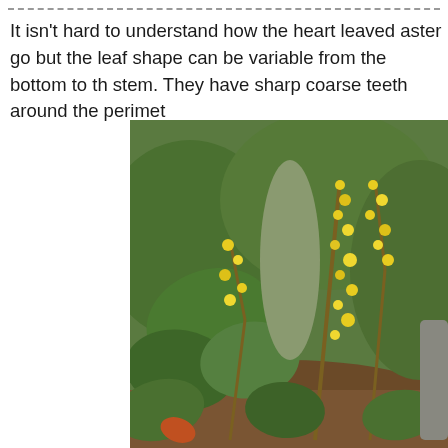It isn't hard to understand how the heart leaved aster go but the leaf shape can be variable from the bottom to th stem. They have sharp coarse teeth around the perimet
[Figure (photo): Photograph of yellow flowering plants (likely goldenrod) with green foliage growing in a woodland garden setting with brown leaf litter on the ground.]